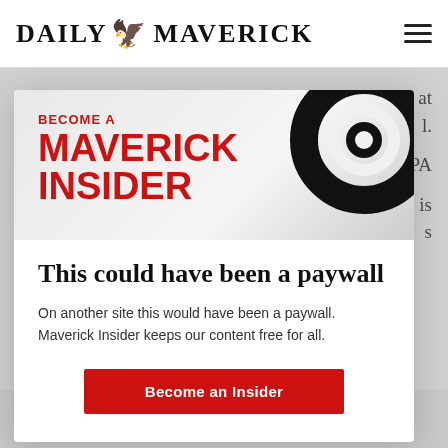DAILY MAVERICK
[Figure (logo): Daily Maverick logo with bird icon and hamburger menu]
[Figure (illustration): Maverick Insider promotional banner with large red text 'BECOME A MAVERICK INSIDER' and a black swirl graphic]
This could have been a paywall
On another site this would have been a paywall. Maverick Insider keeps our content free for all.
Become an Insider
He and /s/'s Eusebius Mckhaiser to defend his book. In ended very badly for him.